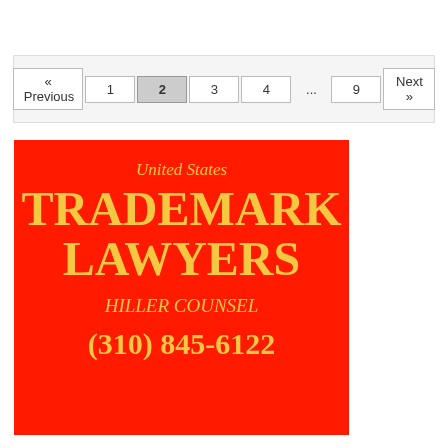[Figure (screenshot): Pagination control showing: « Previous | 1 | 2 (active) | 3 | 4 | ... | 9 | Next »]
[Figure (illustration): Red advertisement box with gold text for United States Trademark Lawyers, Hiller Counsel, phone (310) 845-6122]